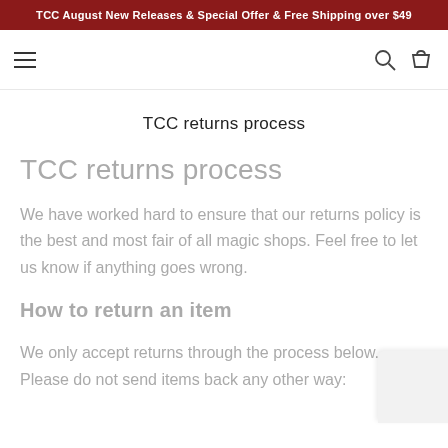TCC August New Releases & Special Offer & Free Shipping over $49
TCC returns process
TCC returns process
We have worked hard to ensure that our returns policy is the best and most fair of all magic shops. Feel free to let us know if anything goes wrong.
How to return an item
We only accept returns through the process below. Please do not send items back any other way: